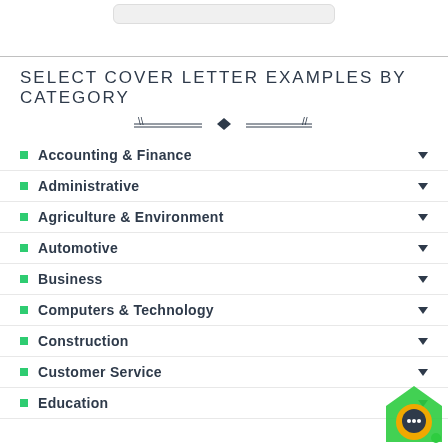SELECT COVER LETTER EXAMPLES BY CATEGORY
Accounting & Finance
Administrative
Agriculture & Environment
Automotive
Business
Computers & Technology
Construction
Customer Service
Education